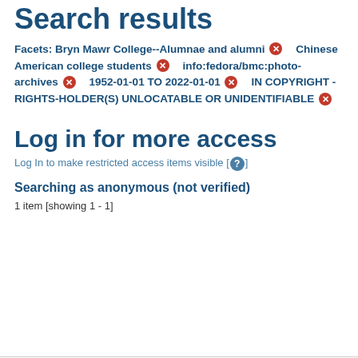Search results
Facets: Bryn Mawr College--Alumnae and alumni ✕     Chinese American college students ✕     info:fedora/bmc:photo-archives ✕     1952-01-01 TO 2022-01-01 ✕     IN COPYRIGHT - RIGHTS-HOLDER(S) UNLOCATABLE OR UNIDENTIFIABLE ✕
Log in for more access
Log In to make restricted access items visible [ ? ]
Searching as anonymous (not verified)
1 item [showing 1 - 1]